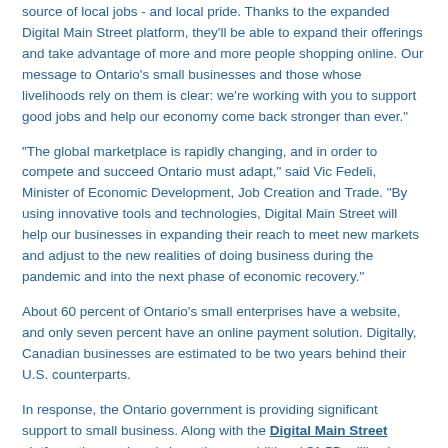source of local jobs - and local pride. Thanks to the expanded Digital Main Street platform, they'll be able to expand their offerings and take advantage of more and more people shopping online. Our message to Ontario's small businesses and those whose livelihoods rely on them is clear: we're working with you to support good jobs and help our economy come back stronger than ever."
"The global marketplace is rapidly changing, and in order to compete and succeed Ontario must adapt," said Vic Fedeli, Minister of Economic Development, Job Creation and Trade. "By using innovative tools and technologies, Digital Main Street will help our businesses in expanding their reach to meet new markets and adjust to the new realities of doing business during the pandemic and into the next phase of economic recovery."
About 60 percent of Ontario's small enterprises have a website, and only seven percent have an online payment solution. Digitally, Canadian businesses are estimated to be two years behind their U.S. counterparts.
In response, the Ontario government is providing significant support to small business. Along with the Digital Main Street platform, the province is investing an additional $1.5B million in small business, which will help...